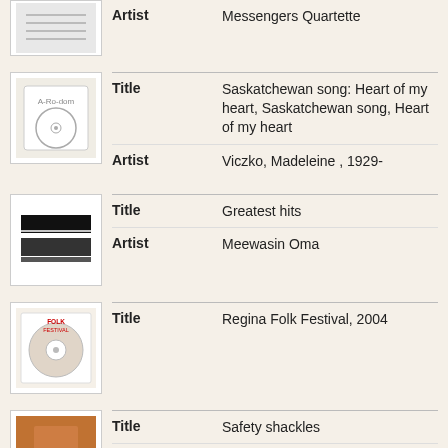Artist: Messengers Quartette
Title: Saskatchewan song: Heart of my heart, Saskatchewan song, Heart of my heart | Artist: Viczko, Madeleine , 1929-
Title: Greatest hits | Artist: Meewasin Oma
Title: Regina Folk Festival, 2004
Title: Safety shackles | Artist: Goebel, Sean., Good Question